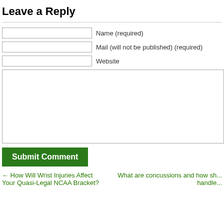Leave a Reply
Name (required)
Mail (will not be published) (required)
Website
Submit Comment
← How Will Wrist Injuries Affect Your Quasi-Legal NCAA Bracket?
What are concussions and how sh... handle...